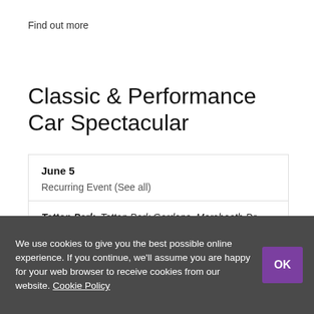Find out more
Classic & Performance Car Spectacular
| June 5 | Recurring Event (See all) |
| Tatton Park, Tatton Park Gardens, Mereheath Dr, Knutsford WA16 6QNUnited Kingdom |  |
The Classic Performance car show returns to Tatton Park
We use cookies to give you the best possible online experience. If you continue, we'll assume you are happy for your web browser to receive cookies from our website. Cookie Policy